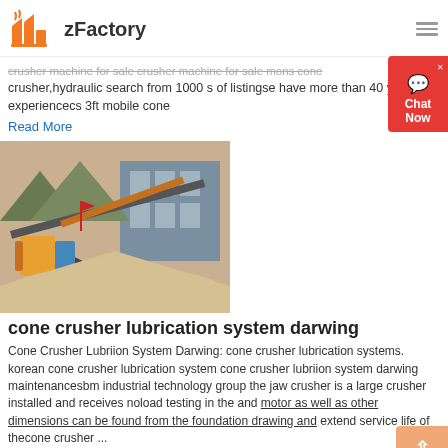zFactory
crusher machine for sale crusher machine for sale mons cone crusher,hydraulic search from 1000 s of listingse have more than 40 years of experiencecs 3ft mobile cone
Read More
[Figure (photo): Industrial crushing/screening equipment site with conveyors, machinery, and a pile of sand/aggregate material in front of a building]
cone crusher lubrication system darwing
Cone Crusher Lubriion System Darwing: cone crusher lubrication systems. korean cone crusher lubrication system cone crusher lubriion system darwing maintenancesbm industrial technology group the jaw crusher is a large crusher installed and receives noload testing in the and motor as well as other dimensions can be found from the foundation drawing and extend service life of thecone crusher ...
Read More